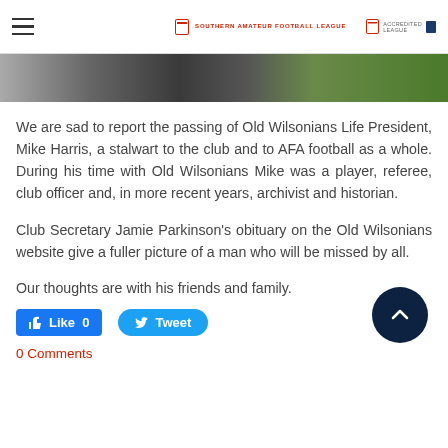Southern Amateur Football League
[Figure (photo): Partial photo strip of a person near a football goal with green grass]
We are sad to report the passing of Old Wilsonians Life President, Mike Harris, a stalwart to the club and to AFA football as a whole. During his time with Old Wilsonians Mike was a player, referee, club officer and, in more recent years, archivist and historian.
Club Secretary Jamie Parkinson's obituary on the Old Wilsonians website give a fuller picture of a man who will be missed by all.
Our thoughts are with his friends and family.
0 Comments